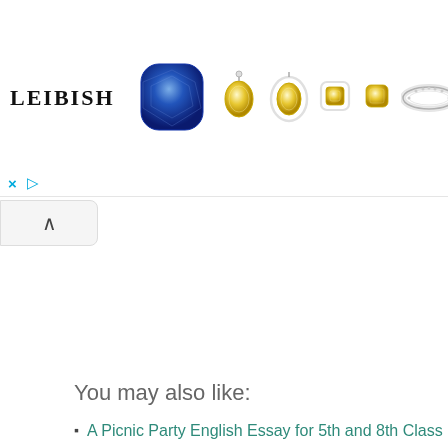[Figure (illustration): Leibish jewelry advertisement banner showing logo text 'LEIBISH' on the left, followed by images of gemstones and jewelry: a large blue cushion-cut sapphire, two yellow oval diamond earrings, smaller yellow diamond stud pairs in halos, a thin diamond band ring, and a large red cushion-cut ruby on the right.]
× ▷
∧
You may also like:
A Picnic Party English Essay for 5th and 8th Class